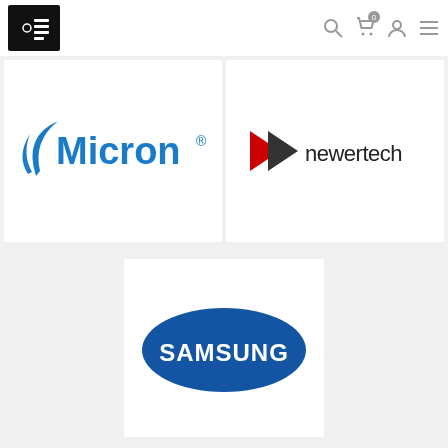[Figure (logo): Website navigation bar with a black square logo containing a palm tree / circuit board icon, and navigation icons (search, cart, user, menu) on the right]
[Figure (logo): Micron logo in blue with swoosh graphic and 'Micron' text]
[Figure (logo): NewerTech logo with red and black arrow chevron and 'newertech' text]
[Figure (logo): Samsung logo in white text on blue oval background]